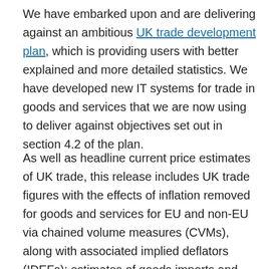We have embarked upon and are delivering against an ambitious UK trade development plan, which is providing users with better explained and more detailed statistics. We have developed new IT systems for trade in goods and services that we are now using to deliver against objectives set out in section 4.2 of the plan.
As well as headline current price estimates of UK trade, this release includes UK trade figures with the effects of inflation removed for goods and services for EU and non-EU via chained volume measures (CVMs), along with associated implied deflators (IDEFs); estimates of goods imports and exports by 234 countries and 125 commodities; trade in goods seasonally adjusted